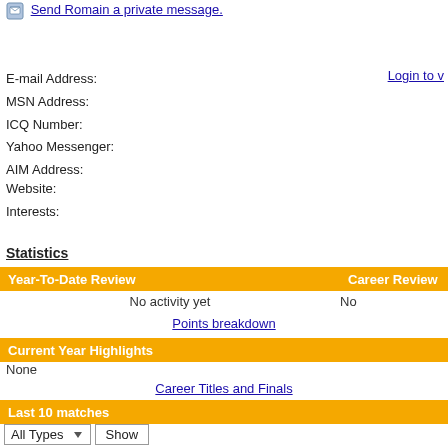Send Romain a private message.
E-mail Address:
MSN Address:
ICQ Number:
Yahoo Messenger:
AIM Address:
Login to v
Website:
Interests:
Statistics
Year-To-Date Review
Career Review
No activity yet
No
Points breakdown
Current Year Highlights
None
Career Titles and Finals
Last 10 matches
All Types
None
Show full activity
Head-to-Head